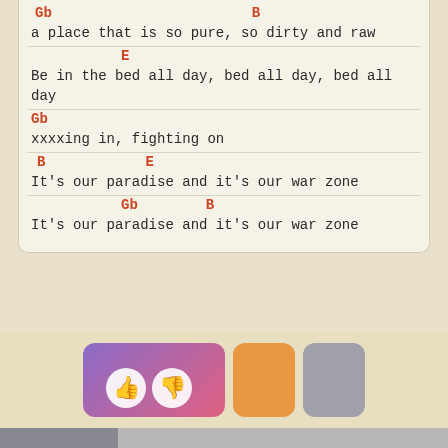Gb  B
a place that is so pure, so dirty and raw
E
Be in the bed all day, bed all day, bed all day
Gb
xxxxing in, fighting on
B  E
It's our paradise and it's our war zone
Gb  B
It's our paradise and it's our war zone
[Figure (infographic): Rating buttons: large purple-to-pink gradient button with thumbs up and thumbs down icons, orange button, gray button]
SPEED  0  1  2  3  4  5
remove these ads